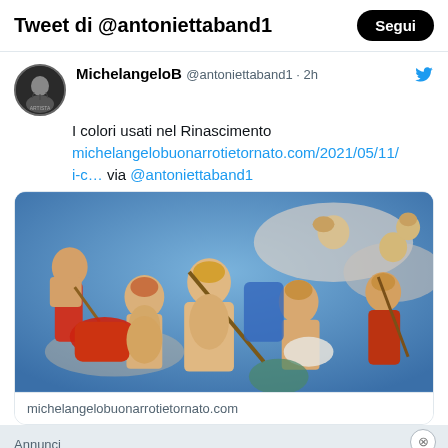Tweet di @antoniettaband1
MichelangeloB @antoniettaband1 · 2h
I colori usati nel Rinascimento michelangelobuonarrotietornato.com/2021/05/11/i-c… via @antoniettaband1
[Figure (photo): Renaissance fresco painting showing multiple figures with muscular bodies in dramatic poses against a blue sky background, appearing to be a section of Michelangelo's work.]
michelangelobuonarrotietornato.com
Annunci